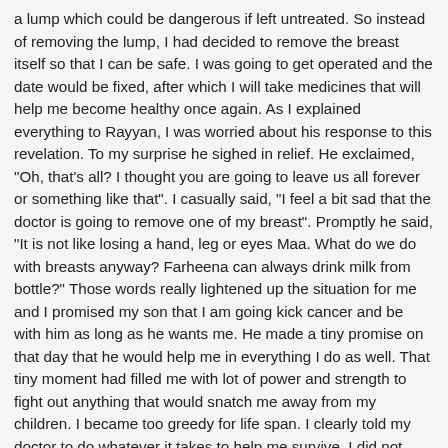a lump which could be dangerous if left untreated. So instead of removing the lump, I had decided to remove the breast itself so that I can be safe. I was going to get operated and the date would be fixed, after which I will take medicines that will help me become healthy once again. As I explained everything to Rayyan, I was worried about his response to this revelation. To my surprise he sighed in relief. He exclaimed, "Oh, that's all? I thought you are going to leave us all forever or something like that". I casually said, "I feel a bit sad that the doctor is going to remove one of my breast". Promptly he said, "It is not like losing a hand, leg or eyes Maa. What do we do with breasts anyway? Farheena can always drink milk from bottle?" Those words really lightened up the situation for me and I promised my son that I am going kick cancer and be with him as long as he wants me. He made a tiny promise on that day that he would help me in everything I do as well. That tiny moment had filled me with lot of power and strength to fight out anything that would snatch me away from my children. I became too greedy for life span. I clearly told my doctor to do whatever it takes to help me survive. I did not mind the quality of life, all I wanted was quantity.